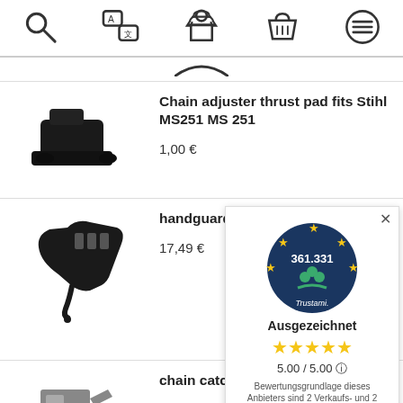[Figure (screenshot): Top navigation bar with search, translation, person, basket, and menu icons]
[Figure (photo): Partial circle/arc shape visible at top of page (scrolled content)]
Chain adjuster thrust pad fits Stihl MS251 MS 251
1,00 €
handguard fits Stihl MS 251 MS251
17,49 €
chain catcher fits Stihl
3,99 €
[Figure (logo): Trustami badge overlay showing 361.331 reviews, Ausgezeichnet rating, 5.00/5.00 stars, with note about Bewertungsgrundlage dieses Anbieters sind 2 Verkaufs- und 2 Bewertungsplattformen]